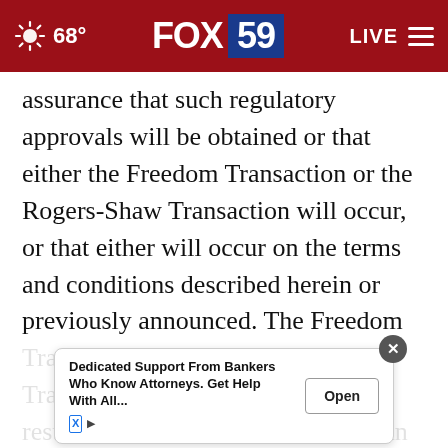68° FOX 59 LIVE
assurance that such regulatory approvals will be obtained or that either the Freedom Transaction or the Rogers-Shaw Transaction will occur, or that either will occur on the terms and conditions described herein or previously announced. The Freedom Transaction and the Rogers-Shaw Transaction could be modified, restructured or terminated. There can be no assurance that the Freedom Transaction or the Rogers-Shaw Transaction will be complete to regulatory authorities and, if applicable, will be